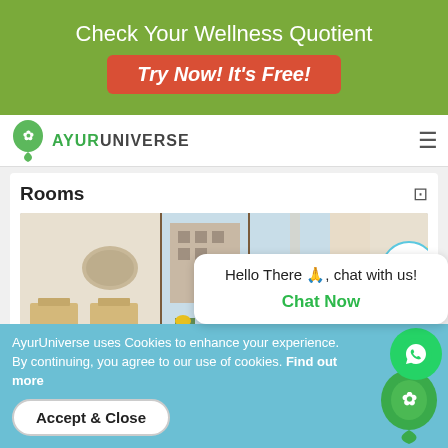Check Your Wellness Quotient
Try Now! It's Free!
[Figure (logo): AyurUniverse logo with green leaf map pin icon and brand name]
Rooms
[Figure (photo): Hotel room interior showing beds with yellow throw, chairs, wooden furniture, large windows with curtains and wall lighting]
Hello There 🙏, chat with us!
Chat Now
AyurUniverse uses Cookies to enhance your experience. By continuing, you agree to our use of cookies. Find out more
Accept & Close